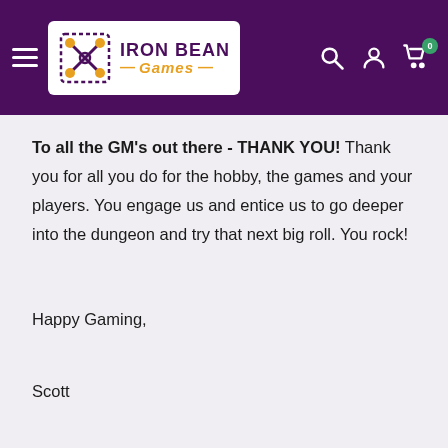[Figure (logo): Iron Bean Games website header with purple background, hamburger menu, Iron Bean Games logo (white background, purple and orange), and search/account/cart icons on the right.]
To all the GM's out there - THANK YOU! Thank you for all you do for the hobby, the games and your players. You engage us and entice us to go deeper into the dungeon and try that next big roll. You rock!
Happy Gaming,

Scott